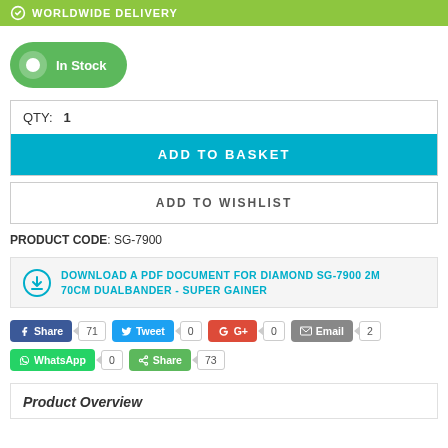WORLDWIDE DELIVERY
In Stock
QTY: 1
ADD TO BASKET
ADD TO WISHLIST
PRODUCT CODE: SG-7900
DOWNLOAD A PDF DOCUMENT FOR DIAMOND SG-7900 2M 70CM DUALBANDER - SUPER GAINER
Share 71  Tweet 0  G+ 0  Email 2  WhatsApp 0  Share 73
Product Overview